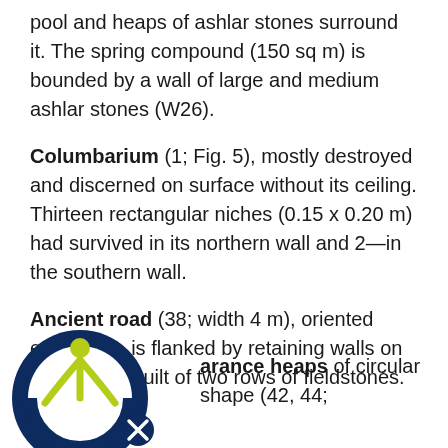pool and heaps of ashlar stones surround it. The spring compound (150 sq m) is bounded by a wall of large and medium ashlar stones (W26).
Columbarium (1; Fig. 5), mostly destroyed and discerned on surface without its ceiling. Thirteen rectangular niches (0.15 x 0.20 m) had survived in its northern wall and 2—in the southern wall.
Ancient road (38; width 4 m), oriented east–west, is flanked by retaining walls on both sides, built of two rows of fieldstones.
[Figure (logo): A circular logo with a dark navy blue outer ring and a yellow-green figure (person with arms raised) inside, with a smaller cross/x icon in the bottom right of the circle.]
arance heaps of circular shape (42, 44;